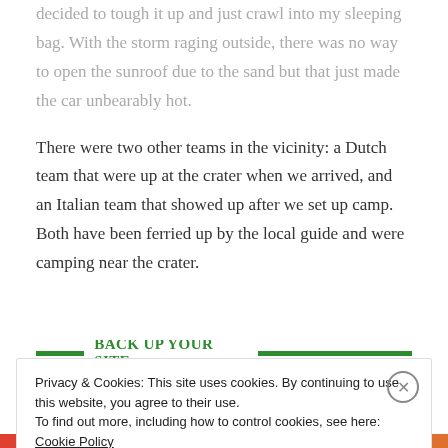decided to tough it up and just crawl into my sleeping bag. With the storm raging outside, there was no way to open the sunroof due to the sand but that just made the car unbearably hot.
There were two other teams in the vicinity: a Dutch team that were up at the crater when we arrived, and an Italian team that showed up after we set up camp. Both have been ferried up by the local guide and were camping near the crater.
Back up your site
Privacy & Cookies: This site uses cookies. By continuing to use this website, you agree to their use.
To find out more, including how to control cookies, see here: Cookie Policy
Close and accept